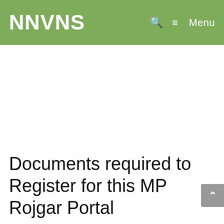NNVNS
Documents required to Register for this MP Rojgar Portal